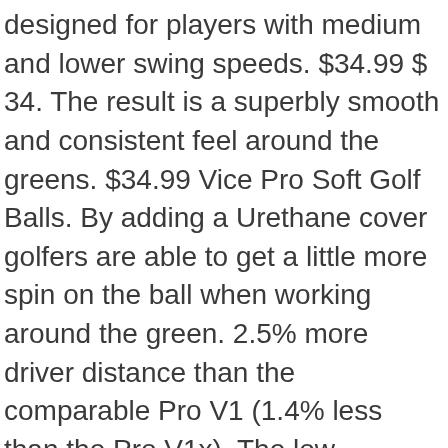designed for players with medium and lower swing speeds. $34.99 $ 34. The result is a superbly smooth and consistent feel around the greens. $34.99 Vice Pro Soft Golf Balls. By adding a Urethane cover golfers are able to get a little more spin on the ball when working around the green. 2.5% more driver distance than the comparable Pro V1 (1.4% less than the Pro V1x). The low compression core is what gives it its soft feel. In the last 360 days Wethrift has found 6 new Vice Golf promo codes. Vice Golf PRO Plus 2020 | 12 Golf Balls | Features: 4-Piece cast Urethane, Maximum Distance, Reduced Driver Spin | More Colors: NEON Lime/RED | Profile: Designed for Advanced Golfers. The courses around here are not in great shape yet and my swing hasn't been the best but I'm impressed with them. Titleist is one of the best of the top